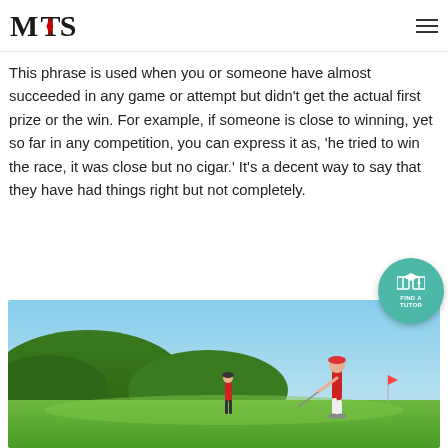MTS logo and navigation
This phrase is used when you or someone have almost succeeded in any game or attempt but didn't get the actual first prize or the win. For example, if someone is close to winning, yet so far in any competition, you can express it as, 'he tried to win the race, it was close but no cigar.' It's a decent way to say that they have had things right but not completely.
[Figure (photo): Golf course scene with golfer swinging and another player in background, green fairway, trees and blue sky]
[Figure (infographic): Circular teal button with book and graduation cap icon, text reads FIND A TUTOR]